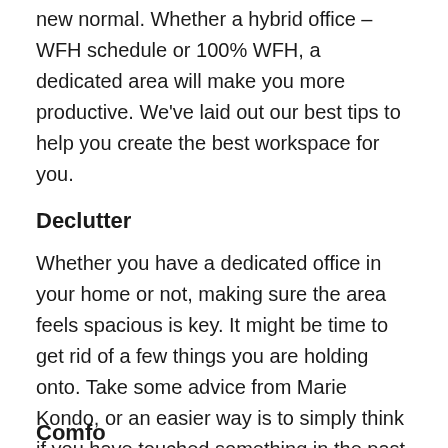new normal. Whether a hybrid office – WFH schedule or 100% WFH, a dedicated area will make you more productive. We've laid out our best tips to help you create the best workspace for you.
Declutter
Whether you have a dedicated office in your home or not, making sure the area feels spacious is key. It might be time to get rid of a few things you are holding onto. Take some advice from Marie Kondo, or an easier way is to simply think if you have touched something in the past 6 months?
Comfo...